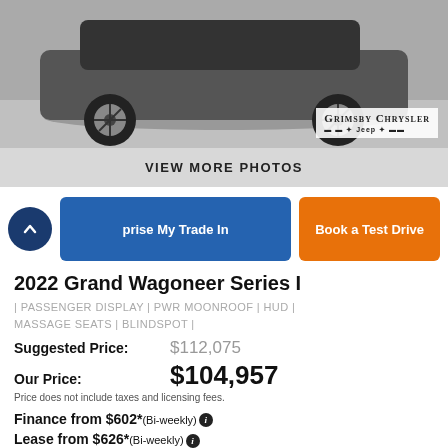[Figure (photo): Black and white photo of the rear/side of a 2022 Grand Wagoneer SUV, showing wheels and lower body, with Grimsby Chrysler logo overlay in bottom right.]
VIEW MORE PHOTOS
Appraise My Trade In | Book a Test Drive
2022 Grand Wagoneer Series I
| PASSENGER DISPLAY | PWR MOONROOF | HUD | MASSAGE SEATS | BLINDSPOT |
Suggested Price: $112,075
Our Price: $104,957
Price does not include taxes and licensing fees.
Finance from $602* (Bi-weekly) ℹ
Lease from $626* (Bi-weekly) ℹ
View Details